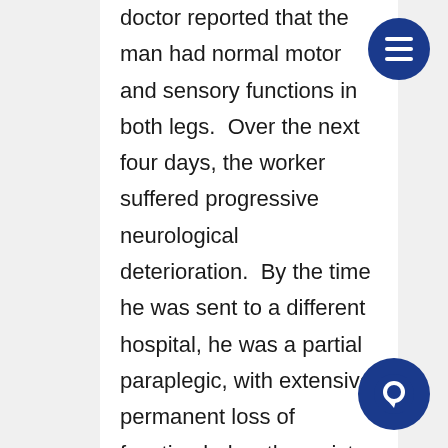doctor reported that the man had normal motor and sensory functions in both legs.  Over the next four days, the worker suffered progressive neurological deterioration.  By the time he was sent to a different hospital, he was a partial paraplegic, with extensive permanent loss of function below the waist.
The man did not know it, but the initial exploratory surgery by the trauma surgeon did not remove pieces of wood and fabric that lodged next to the nerve in the man's lower spine.  Even a good